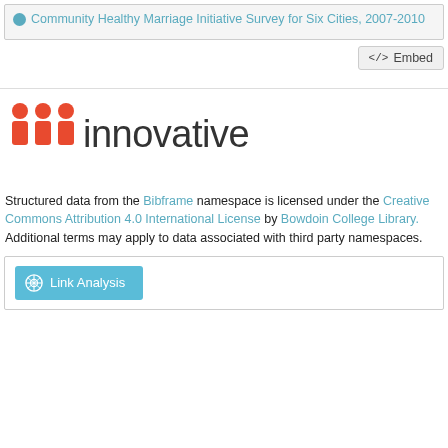Community Healthy Marriage Initiative Survey for Six Cities, 2007-2010
<> Embed
[Figure (logo): Innovative Interfaces logo with three red/orange figure icons and the word 'innovative' in dark gray]
Structured data from the Bibframe namespace is licensed under the Creative Commons Attribution 4.0 International License by Bowdoin College Library. Additional terms may apply to data associated with third party namespaces.
Link Analysis